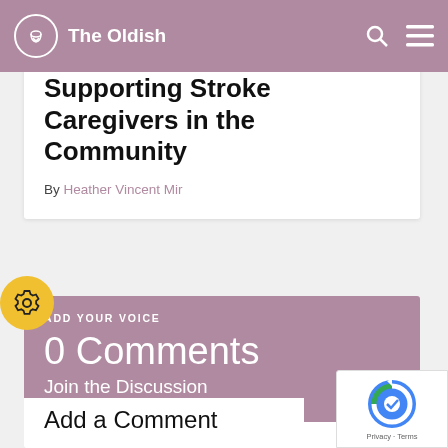The Oldish
Supporting Stroke Caregivers in the Community
By Heather Vincent Mir
ADD YOUR VOICE
0 Comments
Join the Discussion
Add a Comment